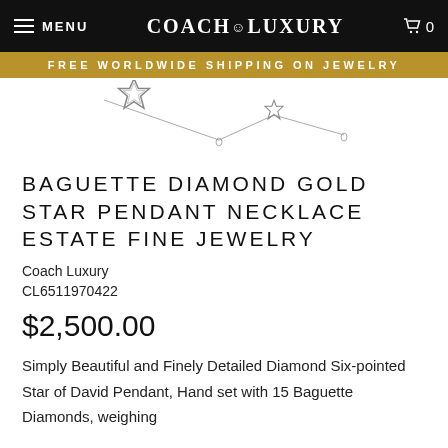MENU | COACH LUXURY | 0
FREE WORLDWIDE SHIPPING ON JEWELRY
[Figure (photo): Product photo of diamond star pendant necklaces on white background]
BAGUETTE DIAMOND GOLD STAR PENDANT NECKLACE ESTATE FINE JEWELRY
Coach Luxury
CL6511970422
$2,500.00
Simply Beautiful and Finely Detailed Diamond Six-pointed Star of David Pendant, Hand set with 15 Baguette Diamonds, weighing